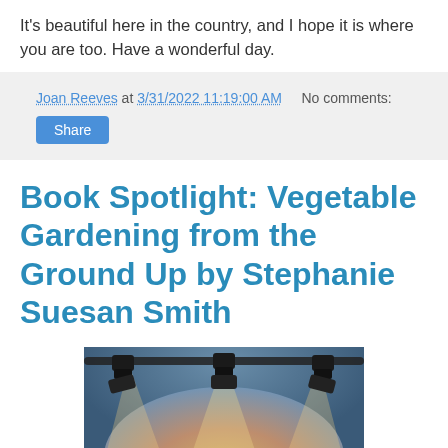It's beautiful here in the country, and I hope it is where you are too. Have a wonderful day.
Joan Reeves at 3/31/2022 11:19:00 AM    No comments:
Share
Book Spotlight: Vegetable Gardening from the Ground Up by Stephanie Suesan Smith
[Figure (photo): Book spotlight image showing stage spotlights with 'SlingWords' text visible at the bottom, serving as a blog header image]